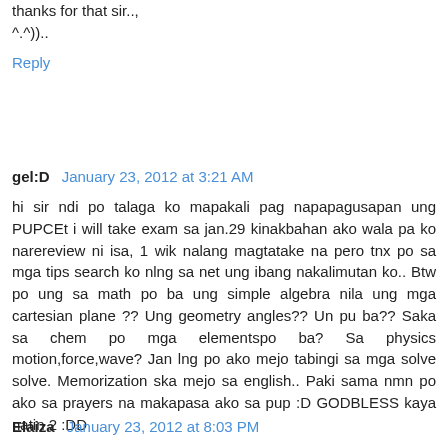thanks for that sir..,
^.^))..
Reply
gel:D  January 23, 2012 at 3:21 AM
hi sir ndi po talaga ko mapakali pag napapagusapan ung PUPCEt i will take exam sa jan.29 kinakbahan ako wala pa ko narereview ni isa, 1 wik nalang magtatake na pero tnx po sa mga tips search ko nlng sa net ung ibang nakalimutan ko.. Btw po ung sa math po ba ung simple algebra nila ung mga cartesian plane ?? Ung geometry angles?? Un pu ba?? Saka sa chem po mga elementspo ba? Sa physics motion,force,wave? Jan lng po ako mejo tabingi sa mga solve solve. Memorization ska mejo sa english.. Paki sama nmn po ako sa prayers na makapasa ako sa pup :D GODBLESS kaya natin 2 :DD
Reply
Elaiza  January 23, 2012 at 8:03 PM